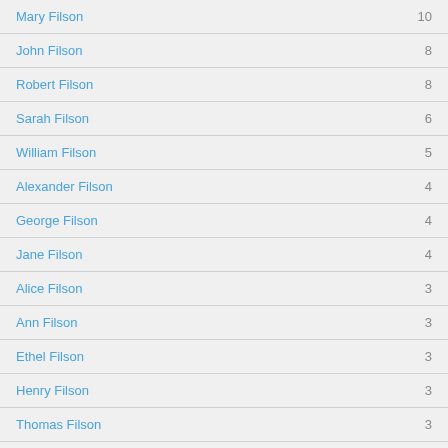Mary Filson 10
John Filson 8
Robert Filson 8
Sarah Filson 6
William Filson 5
Alexander Filson 4
George Filson 4
Jane Filson 4
Alice Filson 3
Ann Filson 3
Ethel Filson 3
Henry Filson 3
Thomas Filson 3